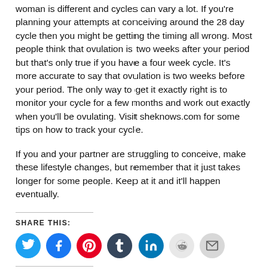woman is different and cycles can vary a lot. If you're planning your attempts at conceiving around the 28 day cycle then you might be getting the timing all wrong. Most people think that ovulation is two weeks after your period but that's only true if you have a four week cycle. It's more accurate to say that ovulation is two weeks before your period. The only way to get it exactly right is to monitor your cycle for a few months and work out exactly when you'll be ovulating. Visit sheknows.com for some tips on how to track your cycle.
If you and your partner are struggling to conceive, make these lifestyle changes, but remember that it just takes longer for some people. Keep at it and it'll happen eventually.
SHARE THIS:
[Figure (infographic): Row of seven social sharing icon circles: Twitter (blue), Facebook (blue), Pinterest (red), Tumblr (dark blue-grey), LinkedIn (blue), Reddit (light grey), Email (light grey)]